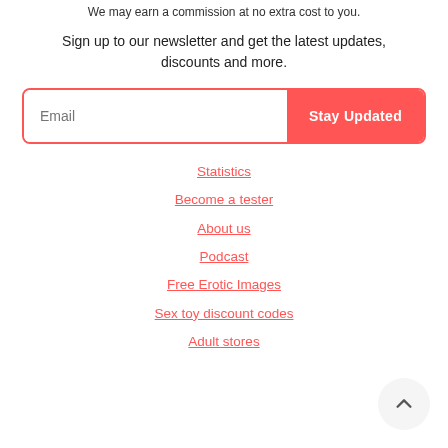We may earn a commission at no extra cost to you.
Sign up to our newsletter and get the latest updates, discounts and more.
[Figure (other): Email newsletter signup form with text input field labeled 'Email' and a red 'Stay Updated' button]
Statistics
Become a tester
About us
Podcast
Free Erotic Images
Sex toy discount codes
Adult stores